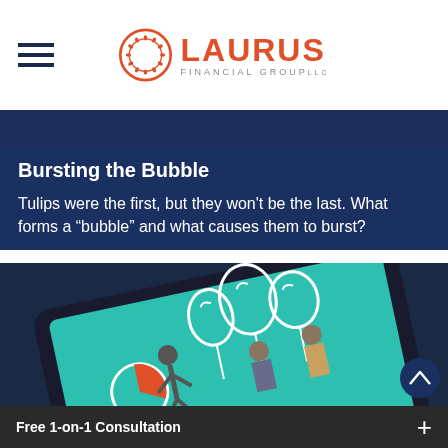Laurus Financial Group
Bursting the Bubble
Tulips were the first, but they won't be the last. What forms a “bubble” and what causes them to burst?
[Figure (illustration): An illustration on a tablet showing cartoon business figures holding balloons, depicting a financial bubble concept with teal/turquoise background]
Free 1-on-1 Consultation